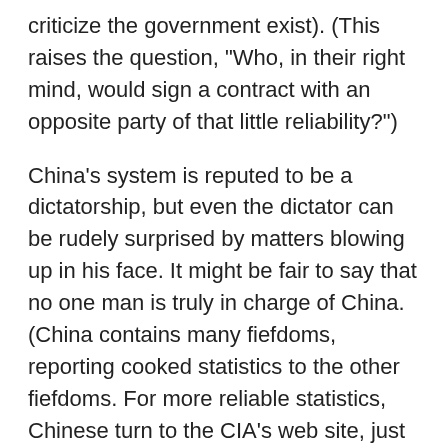criticize the government exist). (This raises the question, "Who, in their right mind, would sign a contract with an opposite party of that little reliability?")
China's system is reputed to be a dictatorship, but even the dictator can be rudely surprised by matters blowing up in his face. It might be fair to say that no one man is truly in charge of China. (China contains many fiefdoms, reporting cooked statistics to the other fiefdoms. For more reliable statistics, Chinese turn to the CIA's web site, just to figure out what's the case in China.) In other words, China is an interplay of forces, and due to inevitable frictions as forces collide, China is unpredictable, perhaps deadly so. For those in Tibet, in East Turkestan, and for all domestic dissenters, China is already deadly. Now, it is threatening to become deadly in a military sense, especially where the United States has a role to defend Taiwan under the Taiwan Relations Act.
Anyone who thinks that China is "gradually building up" to "someday" be a military challenger, is wrong. The Chinese are already there in the sense of military might, and will probably conquer Taiwan within the next five years, if not